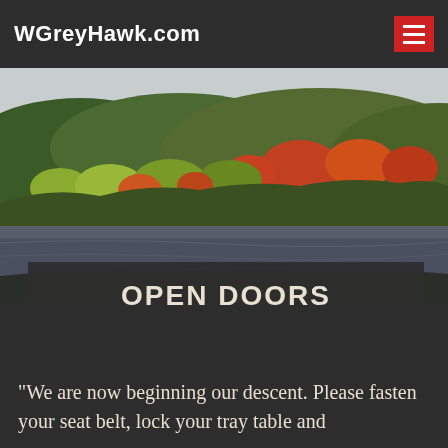WGreyHawk.com
[Figure (photo): Autumn landscape with hills covered in orange, red, and green trees reflected in a dark lake or river below, under an overcast grey sky.]
OPEN DOORS
"We are now beginning our descent. Please fasten your seat belt, lock your tray table and